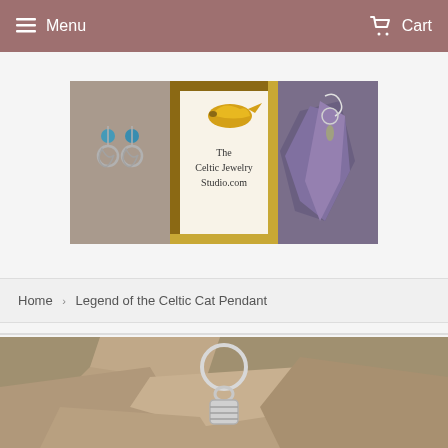Menu  Cart
[Figure (logo): The Celtic Jewelry Studio.com banner logo with earrings photo on left and amethyst pendant photo on right, with illustrated golden Celtic bird mascot]
Home › Legend of the Celtic Cat Pendant
[Figure (photo): Close-up photo of a silver Celtic pendant on a chain, shown against a stone/rocky surface]